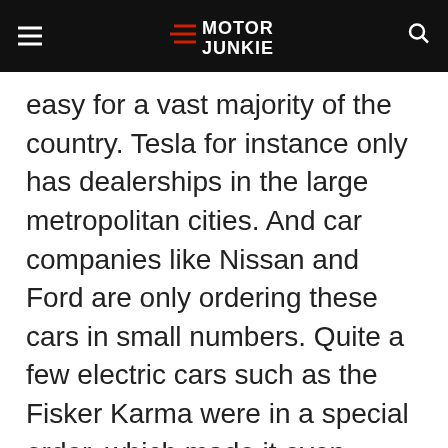Motor Junkie
easy for a vast majority of the country. Tesla for instance only has dealerships in the large metropolitan cities. And car companies like Nissan and Ford are only ordering these cars in small numbers. Quite a few electric cars such as the Fisker Karma were in a special order, which made it even
Advertisement
[Figure (screenshot): BitLife - Life Simulator advertisement banner with red background, app icon, and Install! button]